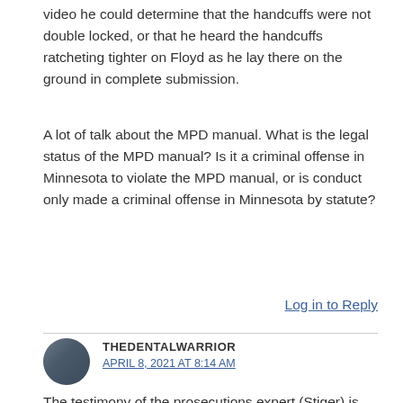video he could determine that the handcuffs were not double locked, or that he heard the handcuffs ratcheting tighter on Floyd as he lay there on the ground in complete submission.
A lot of talk about the MPD manual. What is the legal status of the MPD manual? Is it a criminal offense in Minnesota to violate the MPD manual, or is conduct only made a criminal offense in Minnesota by statute?
Log in to Reply
THEDENTALWARRIOR
APRIL 8, 2021 AT 8:14 AM
The testimony of the prosecutions expert (Stiger) is stunningly harmful to their case.
So, naturally, I agree with your assessment. My concern is whether